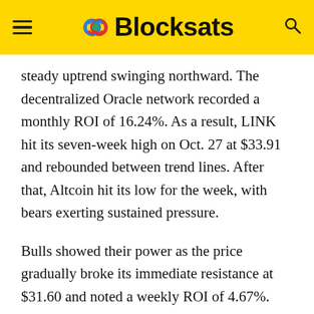Blocksats
steady uptrend swinging northward. The decentralized Oracle network recorded a monthly ROI of 16.24%. As a result, LINK hit its seven-week high on Oct. 27 at $33.91 and rebounded between trend lines. After that, Altcoin hit its low for the week, with bears exerting sustained pressure.
Bulls showed their power as the price gradually broke its immediate resistance at $31.60 and noted a weekly ROI of 4.67%.
However, so far, LINK was trading at $31.97 after